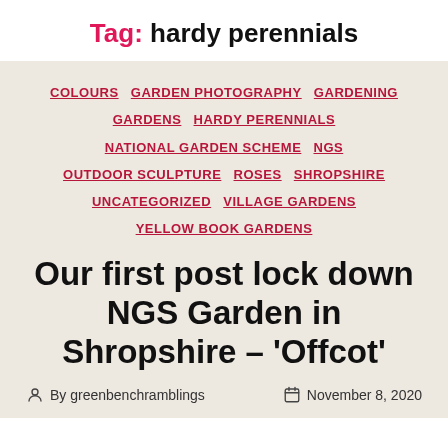Tag: hardy perennials
COLOURS  GARDEN PHOTOGRAPHY  GARDENING  GARDENS  HARDY PERENNIALS  NATIONAL GARDEN SCHEME  NGS  OUTDOOR SCULPTURE  ROSES  SHROPSHIRE  UNCATEGORIZED  VILLAGE GARDENS  YELLOW BOOK GARDENS
Our first post lock down NGS Garden in Shropshire – 'Offcot'
By greenbenchramblings  November 8, 2020